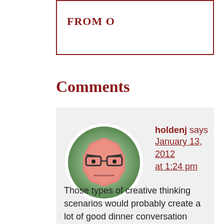FROM O
Comments
[Figure (illustration): Cartoon avatar of a grumpy-looking geometric face with glasses, pink/salmon colored, on a green circular background]
holdenj says January 13, 2012 at 1:24 pm
Those types of creative thinking scenarios would probably create a lot of good dinner conversation around here!